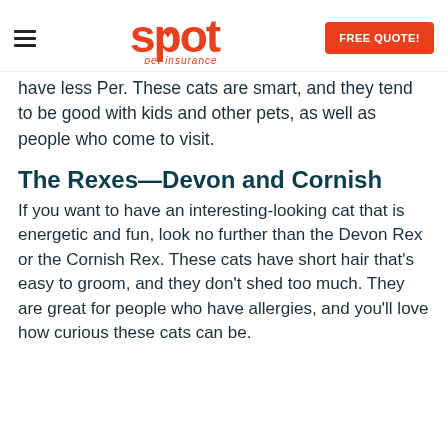Spot pet insurance | FREE QUOTE!
have less Per. These cats are smart, and they tend to be good with kids and other pets, as well as people who come to visit.
The Rexes—Devon and Cornish
If you want to have an interesting-looking cat that is energetic and fun, look no further than the Devon Rex or the Cornish Rex. These cats have short hair that's easy to groom, and they don't shed too much. They are great for people who have allergies, and you'll love how curious these cats can be.